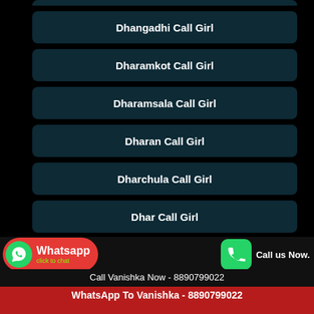Dhangadhi Call Girl
Dharamkot Call Girl
Dharamsala Call Girl
Dharan Call Girl
Dharchula Call Girl
Dhar Call Girl
Dhari Call Girl
Whatsapp click to chat
Call us Now.
Call Vanishka Now - 8890799022
WhatsApp To Vanishka - 8890799022